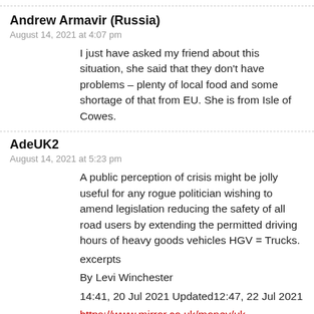Andrew Armavir (Russia)
August 14, 2021 at 4:07 pm
I just have asked my friend about this situation, she said that they don't have problems – plenty of local food and some shortage of that from EU. She is from Isle of Cowes.
AdeUK2
August 14, 2021 at 5:23 pm
A public perception of crisis might be jolly useful for any rogue politician wishing to amend legislation reducing the safety of all road users by extending the permitted driving hours of heavy goods vehicles HGV = Trucks.
excerpts
By Levi Winchester
14:41, 20 Jul 2021 Updated12:47, 22 Jul 2021
https://www.mirror.co.uk/money/uk-supermarket-empty-shelves-three-24575260